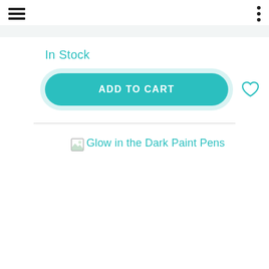In Stock
[Figure (screenshot): ADD TO CART button (teal rounded pill shape) with heart icon and copy icon to the right]
[Figure (photo): Broken image placeholder with alt text: Glow in the Dark Paint Pens]